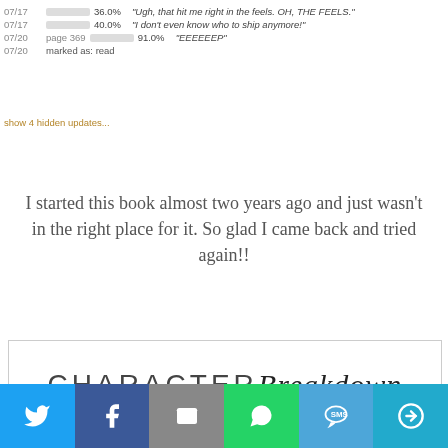07/17   36.0%  "Ugh, that hit me right in the feels. OH, THE FEELS."
07/17   40.0%  "I don't even know who to ship anymore!"
07/20 page 369  91.0%  "EEEEEEP"
07/20 marked as: read
show 4 hidden updates...
I started this book almost two years ago and just wasn't in the right place for it. So glad I came back and tried again!!
[Figure (illustration): Character Breakdown banner with 'CHARACTER' in thin sans-serif uppercase and 'Breakdown' in cursive script, inside a rectangular border]
Celaena Sardothien // Character Obsessions: Freedom, becoming the King's champion, trust, friendship.
[Figure (infographic): Social share bar with Twitter, Facebook, Email, WhatsApp, SMS, and More buttons]